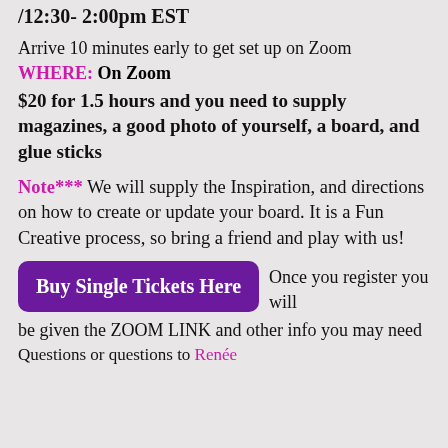TIME: 9:30am – 11:00am PST /12:30- 2:00pm EST
Arrive 10 minutes early to get set up on Zoom
WHERE: On Zoom
$20 for 1.5 hours and you need to supply magazines, a good photo of yourself, a board, and glue sticks
Note*** We will supply the Inspiration, and directions on how to create or update your board. It is a Fun Creative process, so bring a friend and play with us!
Buy Single Tickets Here  Once you register you will be given the ZOOM LINK and other info you may need
Questions or questions to Renée